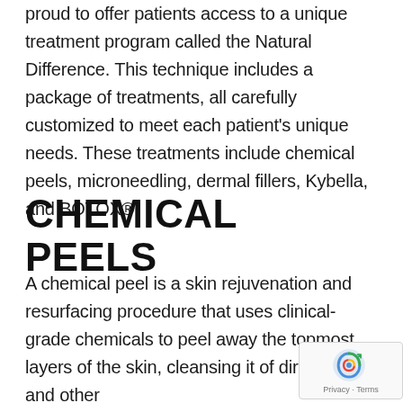proud to offer patients access to a unique treatment program called the Natural Difference. This technique includes a package of treatments, all carefully customized to meet each patient's unique needs. These treatments include chemical peels, microneedling, dermal fillers, Kybella, and BOTOX®.
CHEMICAL PEELS
A chemical peel is a skin rejuvenation and resurfacing procedure that uses clinical-grade chemicals to peel away the topmost layers of the skin, cleansing it of dirt, sebum, and other